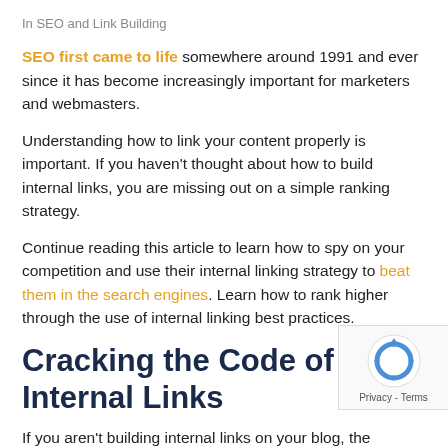In SEO and Link Building
SEO first came to life somewhere around 1991 and ever since it has become increasingly important for marketers and webmasters.
Understanding how to link your content properly is important. If you haven't thought about how to build internal links, you are missing out on a simple ranking strategy.
Continue reading this article to learn how to spy on your competition and use their internal linking strategy to beat them in the search engines. Learn how to rank higher through the use of internal linking best practices.
Cracking the Code of Internal Links
If you aren't building internal links on your blog, the thought of going through and figuring out how to link could be overwhelming.
Where do you start?